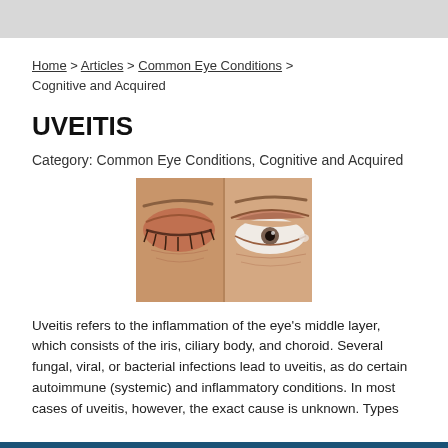Home > Articles > Common Eye Conditions > Cognitive and Acquired
UVEITIS
Category: Common Eye Conditions, Cognitive and Acquired
[Figure (photo): Two side-by-side close-up photos of a human eye/eyelid area showing uveitis condition]
Uveitis refers to the inflammation of the eye's middle layer, which consists of the iris, ciliary body, and choroid. Several fungal, viral, or bacterial infections lead to uveitis, as do certain autoimmune (systemic) and inflammatory conditions. In most cases of uveitis, however, the exact cause is unknown. Types